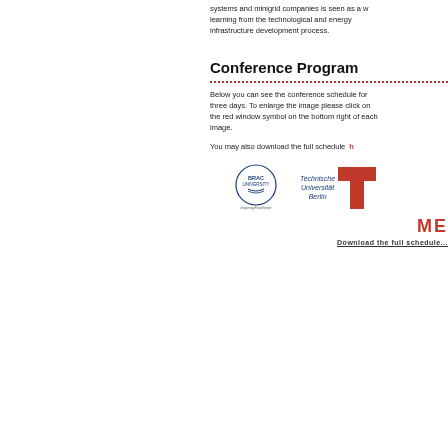systems and minigrid companies is seen as a way of learning from the technological and energy infrastructure development process.
Conference Program
Below you can see the conference schedule for three days. To enlarge the image please click on the red window symbol on the bottom right of each image.
You may also download the full schedule h...
[Figure (logo): BRAC University logo with text 'Inspiring Excellence']
[Figure (logo): Technische Universität Berlin logo with TU mark in red]
[Figure (logo): ME logo in red bold text]
Download the full schedule...